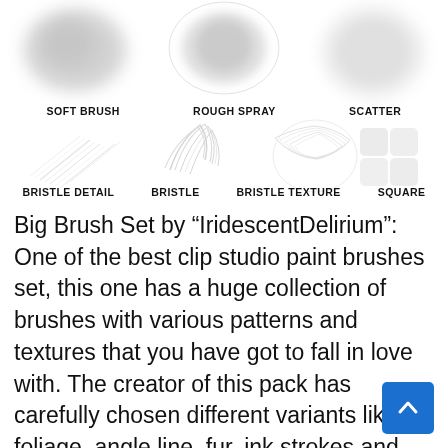[Figure (illustration): Grid of digital brush stroke examples: Soft Brush, Rough Spray, Scatter (top row), Bristle Detail, Bristle, Bristle Texture, Square (bottom row)]
Soft Brush   Rough Spray   Scatter
Bristle Detail   Bristle   Bristle Texture   Square
Big Brush Set by “IridescentDelirium”: One of the best clip studio paint brushes set, this one has a huge collection of brushes with various patterns and textures that you have got to fall in love with. The creator of this pack has carefully chosen different variants like foliage, angle line, fur, ink strokes and paints, and many more. This is a great op... for artists, illustrators, or graphic designe... who can get several variants in a single